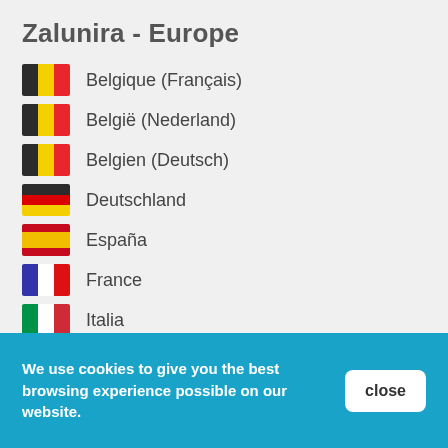Zalunira - Europe
Belgique (Français)
België (Nederland)
Belgien (Deutsch)
Deutschland
España
France
Italia
Ireland
Luxembourg (Français)
Luxemburg (Deutsch)
Nederland
We use cookies to give you the best browsing experience possible on our website.